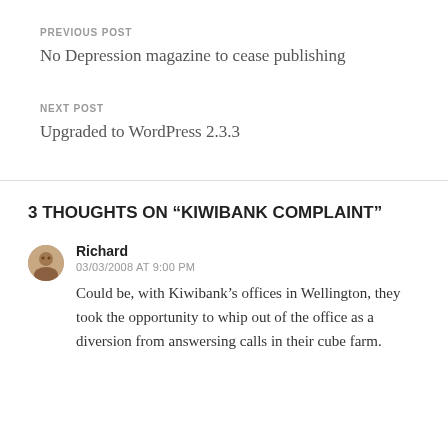PREVIOUS POST
No Depression magazine to cease publishing
NEXT POST
Upgraded to WordPress 2.3.3
3 THOUGHTS ON “KIWIBANK COMPLAINT”
Richard
03/03/2008 AT 9:00 PM
Could be, with Kiwibank’s offices in Wellington, they took the opportunity to whip out of the office as a diversion from answersing calls in their cube farm.